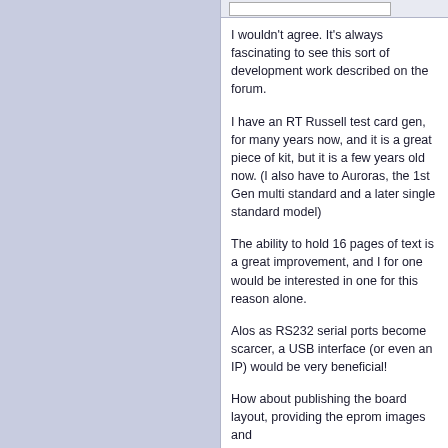I wouldn't agree. It's always fascinating to see this sort of development work described on the forum.
I have an RT Russell test card gen, for many years now, and it is a great piece of kit, but it is a few years old now. (I also have to Auroras, the 1st Gen multi standard and a later single standard model)
The ability to hold 16 pages of text is a great improvement, and I for one would be interested in one for this reason alone.
Alos as RS232 serial ports become scarcer, a USB interface (or even an IP) would be very beneficial!
How about publishing the board layout, providing the eprom images and allowing others to build thir own units, if you don't want the